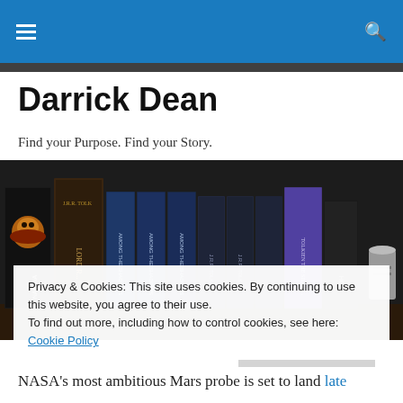Navigation bar with menu and search icons
Darrick Dean
Find your Purpose. Find your Story.
[Figure (photo): Row of books on a shelf including The Lord of the Rings and other fantasy novels, with a Narnia book visible on the left, moody dark lighting]
Privacy & Cookies: This site uses cookies. By continuing to use this website, you agree to their use.
To find out more, including how to control cookies, see here: Cookie Policy
Close and accept
NASA's most ambitious Mars probe is set to land late